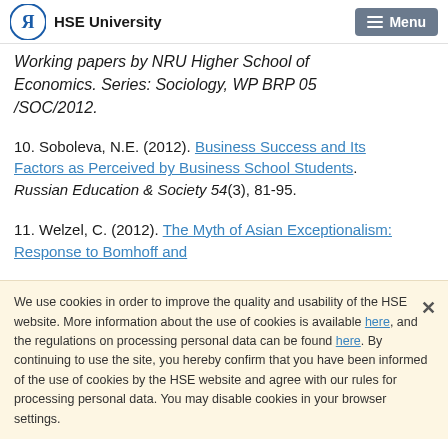HSE University | Menu
Working papers by NRU Higher School of Economics. Series: Sociology, WP BRP 05 /SOC/2012.
10. Soboleva, N.E. (2012). Business Success and Its Factors as Perceived by Business School Students. Russian Education & Society 54(3), 81-95.
11. Welzel, C. (2012). The Myth of Asian Exceptionalism: Response to Bomhoff and
We use cookies in order to improve the quality and usability of the HSE website. More information about the use of cookies is available here, and the regulations on processing personal data can be found here. By continuing to use the site, you hereby confirm that you have been informed of the use of cookies by the HSE website and agree with our rules for processing personal data. You may disable cookies in your browser settings.